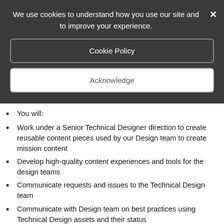We use cookies to understand how you use our site and to improve your experience.
Cookie Policy
Acknowledge
You will:
Work under a Senior Technical Designer direction to create reusable content pieces used by our Design team to create mission content
Develop high-quality content experiences and tools for the design teams
Communicate requests and issues to the Technical Design team
Communicate with Design team on best practices using Technical Design assets and their status
Collaborate with all other departments on design needs with a focus on support with programming, art, audio, and animation departments